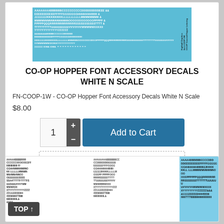[Figure (photo): Blue decal sheet showing white alphabet letters and characters for CO-OP Hopper Font Accessory Decals White N Scale]
CO-OP HOPPER FONT ACCESSORY DECALS WHITE N SCALE
FN-COOP-1W - CO-OP Hopper Font Accessory Decals White N Scale
$8.00
[Figure (screenshot): Add to cart UI with quantity selector showing 1, plus and minus buttons, and Add to Cart button in blue]
[Figure (screenshot): Product details button with dashed border]
[Figure (photo): Bottom partial product card showing decal sheets with black on white and black on blue letter sets]